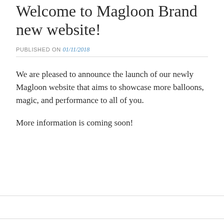Welcome to Magloon Brand new website!
PUBLISHED ON 01/11/2018
We are pleased to announce the launch of our newly Magloon website that aims to showcase more balloons, magic, and performance to all of you.

More information is coming soon!